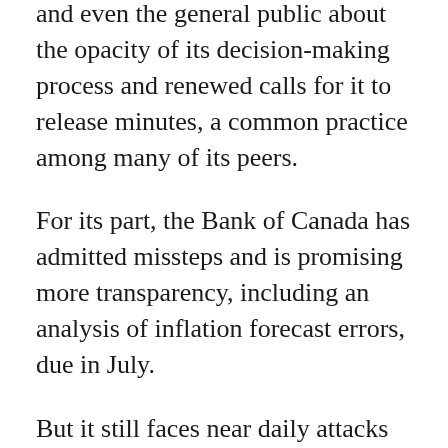and even the general public about the opacity of its decision-making process and renewed calls for it to release minutes, a common practice among many of its peers.
For its part, the Bank of Canada has admitted missteps and is promising more transparency, including an analysis of inflation forecast errors, due in July.
But it still faces near daily attacks by politician Pierre Poilievre, the frontrunner to lead the opposition Conservative Party, who regularly takes to social media to accuse the central bank of being both incompetent and a government